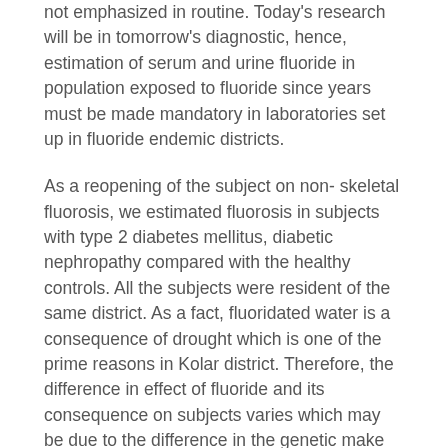not emphasized in routine. Today's research will be in tomorrow's diagnostic, hence, estimation of serum and urine fluoride in population exposed to fluoride since years must be made mandatory in laboratories set up in fluoride endemic districts.
As a reopening of the subject on non- skeletal fluorosis, we estimated fluorosis in subjects with type 2 diabetes mellitus, diabetic nephropathy compared with the healthy controls. All the subjects were resident of the same district. As a fact, fluoridated water is a consequence of drought which is one of the prime reasons in Kolar district. Therefore, the difference in effect of fluoride and its consequence on subjects varies which may be due to the difference in the genetic make up.
Apart from fluoride and fluorosis, the study also includes an interesting anti- aging molecule